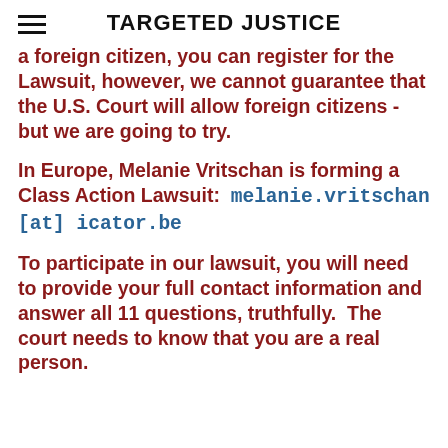TARGETED JUSTICE
a foreign citizen, you can register for the Lawsuit, however, we cannot guarantee that the U.S. Court will allow foreign citizens - but we are going to try.
In Europe, Melanie Vritschan is forming a Class Action Lawsuit:  melanie.vritschan [at] icator.be
To participate in our lawsuit, you will need to provide your full contact information and answer all 11 questions, truthfully.  The court needs to know that you are a real person.